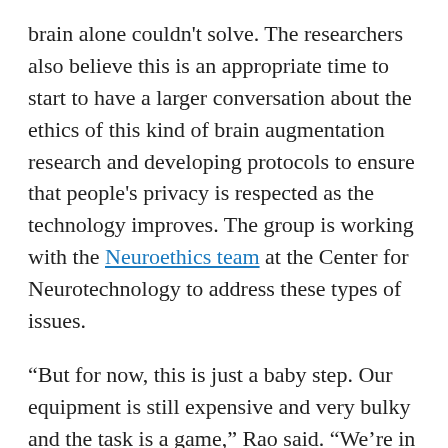brain alone couldn't solve. The researchers also believe this is an appropriate time to start to have a larger conversation about the ethics of this kind of brain augmentation research and developing protocols to ensure that people's privacy is respected as the technology improves. The group is working with the Neuroethics team at the Center for Neurotechnology to address these types of issues.
“But for now, this is just a baby step. Our equipment is still expensive and very bulky and the task is a game,” Rao said. “We’re in the ‘Kitty Hawk’ days of brain interface technologies: We’re just getting off the ground.”
Co-authors include Darby Losey, a graduate student at Carnegie Mellon University who